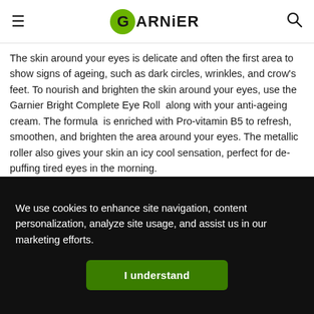GARNIER
The skin around your eyes is delicate and often the first area to show signs of ageing, such as dark circles, wrinkles, and crow’s feet. To nourish and brighten the skin around your eyes, use the Garnier Bright Complete Eye Roll  along with your anti-ageing cream. The formula is enriched with Pro-vitamin B5 to refresh, smoothen, and brighten the area around your eyes. The metallic roller also gives your skin an icy cool sensation, perfect for de-puffing tired eyes in the morning.
Step 5 – Do not skip moisturizer
We use cookies to enhance site navigation, content personalization, analyze site usage, and assist us in our marketing efforts.